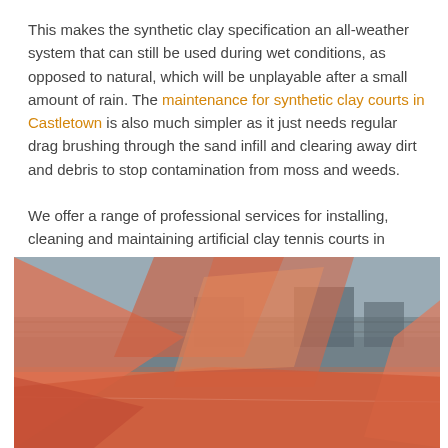This makes the synthetic clay specification an all-weather system that can still be used during wet conditions, as opposed to natural, which will be unplayable after a small amount of rain. The maintenance for synthetic clay courts in Castletown is also much simpler as it just needs regular drag brushing through the sand infill and clearing away dirt and debris to stop contamination from moss and weeds.
We offer a range of professional services for installing, cleaning and maintaining artificial clay tennis courts in Castletown KW14 8
[Figure (photo): Photo of a clay tennis court facility with a fence and buildings in the background, overlaid with semi-transparent geometric orange/salmon-colored triangle shapes forming a decorative pattern over the image.]